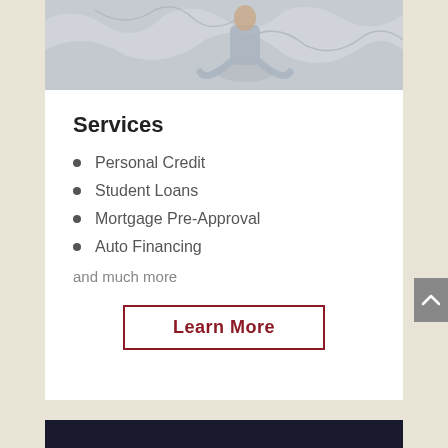[Figure (photo): Person sitting on a pile of crumpled white papers, wearing light blue jeans and a light blue shirt]
Services
Personal Credit
Student Loans
Mortgage Pre-Approval
Auto Financing
and much more
Learn More
[Figure (photo): Dark/navy image at bottom of page, partially visible]